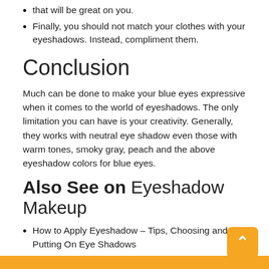that will be great on you.
Finally, you should not match your clothes with your eyeshadows. Instead, compliment them.
Conclusion
Much can be done to make your blue eyes expressive when it comes to the world of eyeshadows. The only limitation you can have is your creativity. Generally, they works with neutral eye shadow even those with warm tones, smoky gray, peach and the above eyeshadow colors for blue eyes.
Also See on Eyeshadow Makeup
How to Apply Eyeshadow – Tips, Choosing and Putting On Eye Shadows
How to Make Eyeshadow – Steps and Tips for Homemade Eye Shadow
Best Eyeshadow Reviews – Different Best Eye Shadows Types and Rankings